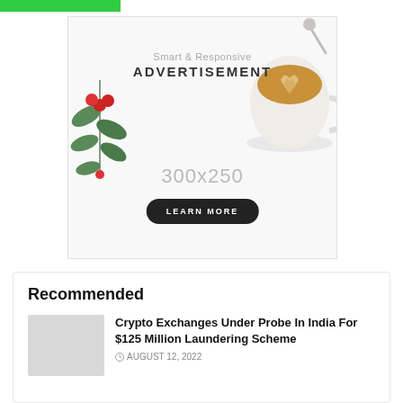[Figure (illustration): Smart & Responsive ADVERTISEMENT banner with 300x250 dimensions, featuring a coffee latte art cup and christmas holly decoration with red berries, and a LEARN MORE button]
Recommended
[Figure (photo): Thumbnail image placeholder for article about crypto exchanges]
Crypto Exchanges Under Probe In India For $125 Million Laundering Scheme
AUGUST 12, 2022